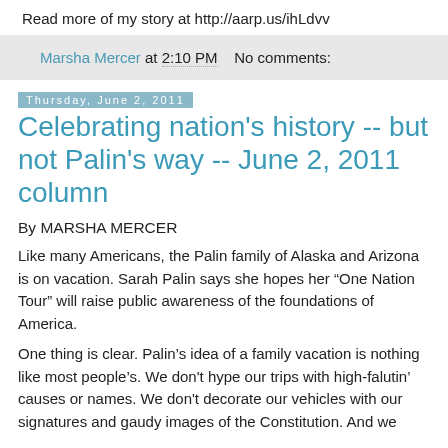Read more of my story at http://aarp.us/ihLdvv
Marsha Mercer at 2:10 PM   No comments:
Thursday, June 2, 2011
Celebrating nation's history -- but not Palin's way -- June 2, 2011 column
By MARSHA MERCER
Like many Americans, the Palin family of Alaska and Arizona is on vacation. Sarah Palin says she hopes her “One Nation Tour” will raise public awareness of the foundations of America.
One thing is clear. Palin’s idea of a family vacation is nothing like most people’s. We don't hype our trips with high-falutin’ causes or names. We don't decorate our vehicles with our signatures and gaudy images of the Constitution. And we